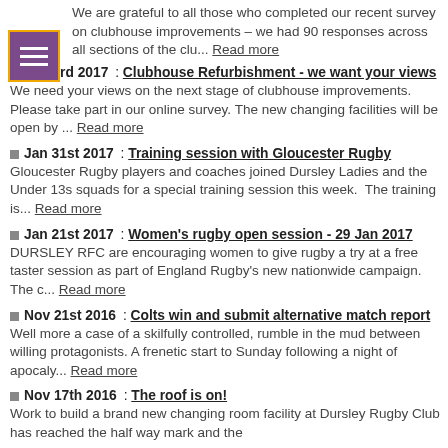We are grateful to all those who completed our recent survey on clubhouse improvements – we had 90 responses across all sections of the clu... Read more
Feb 3rd 2017 : Clubhouse Refurbishment - we want your views — We need your views on the next stage of clubhouse improvements. Please take part in our online survey. The new changing facilities will be open by ... Read more
Jan 31st 2017 : Training session with Gloucester Rugby — Gloucester Rugby players and coaches joined Dursley Ladies and the Under 13s squads for a special training session this week. The training is... Read more
Jan 21st 2017 : Women's rugby open session - 29 Jan 2017 — DURSLEY RFC are encouraging women to give rugby a try at a free taster session as part of England Rugby's new nationwide campaign. The c... Read more
Nov 21st 2016 : Colts win and submit alternative match report — Well more a case of a skilfully controlled, rumble in the mud between willing protagonists. A frenetic start to Sunday following a night of apocaly... Read more
Nov 17th 2016 : The roof is on! — Work to build a brand new changing room facility at Dursley Rugby Club has reached the half way mark and the